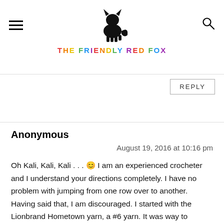THE FRIENDLY RED FOX
REPLY
Anonymous
August 19, 2016 at 10:16 pm
Oh Kali, Kali, Kali . . . 😊 I am an experienced crocheter and I understand your directions completely. I have no problem with jumping from one row over to another. Having said that, I am discouraged. I started with the Lionbrand Hometown yarn, a #6 yarn. It was way to